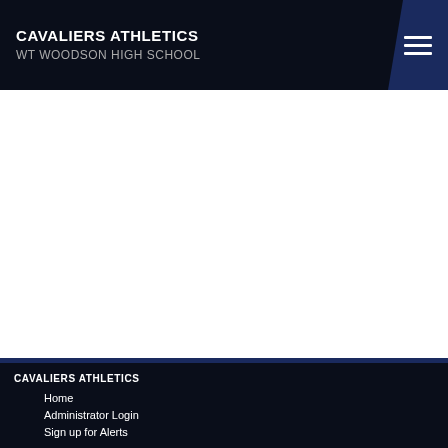CAVALIERS ATHLETICS
WT WOODSON HIGH SCHOOL
CAVALIERS ATHLETICS
Home
Administrator Login
Sign up for Alerts